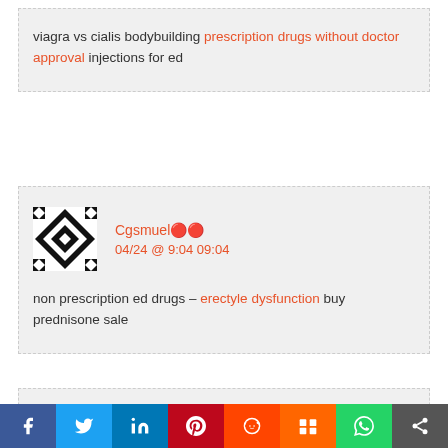viagra vs cialis bodybuilding prescription drugs without doctor approval injections for ed
Cgsmuel🔴🔴
04/24 @ 9:04 09:04
non prescription ed drugs – erectyle dysfunction buy prednisone sale
Reta Danns🔴🔴🔴
04/24 @ 18:43 18:43